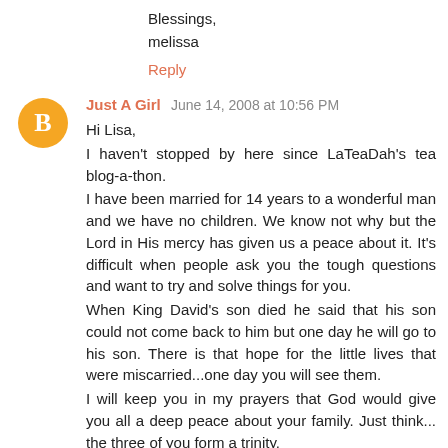Blessings,
melissa
Reply
Just A Girl  June 14, 2008 at 10:56 PM
Hi Lisa,
I haven't stopped by here since LaTeaDah's tea blog-a-thon.
I have been married for 14 years to a wonderful man and we have no children. We know not why but the Lord in His mercy has given us a peace about it. It's difficult when people ask you the tough questions and want to try and solve things for you.
When King David's son died he said that his son could not come back to him but one day he will go to his son. There is that hope for the little lives that were miscarried...one day you will see them.
I will keep you in my prayers that God would give you all a deep peace about your family. Just think... the three of you form a trinity.